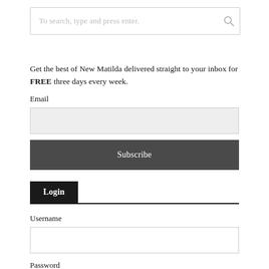To search, type and press enter.
Get the best of New Matilda delivered straight to your inbox for FREE three days every week.
Email
[Figure (other): Email input field]
Subscribe
Login
Username
[Figure (other): Username input field]
Password